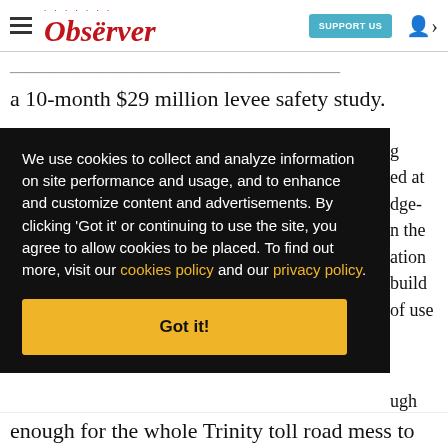Observer | SUPPORT US
a 10-month $29 million levee safety study.
We use cookies to collect and analyze information on site performance and usage, and to enhance and customize content and advertisements. By clicking 'Got it' or continuing to use the site, you agree to allow cookies to be placed. To find out more, visit our cookies policy and our privacy policy.
Got it!
enough for the whole Trinity toll road mess to